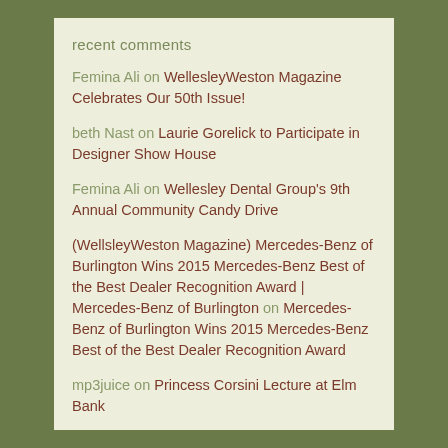recent comments
Femina Ali on WellesleyWeston Magazine Celebrates Our 50th Issue!
beth Nast on Laurie Gorelick to Participate in Designer Show House
Femina Ali on Wellesley Dental Group's 9th Annual Community Candy Drive
(WellsleyWeston Magazine) Mercedes-Benz of Burlington Wins 2015 Mercedes-Benz Best of the Best Dealer Recognition Award | Mercedes-Benz of Burlington on Mercedes-Benz of Burlington Wins 2015 Mercedes-Benz Best of the Best Dealer Recognition Award
mp3juice on Princess Corsini Lecture at Elm Bank